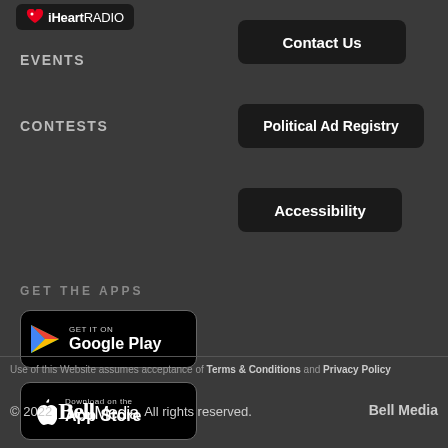[Figure (logo): iHeartRADIO logo on dark background]
EVENTS
CONTESTS
Contact Us
Political Ad Registry
Accessibility
GET THE APPS
[Figure (logo): Get it on Google Play button]
[Figure (logo): Download on the App Store button]
Use of this Website assumes acceptance of Terms & Conditions and Privacy Policy
© 2022 Bell Media All rights reserved. Bell Media